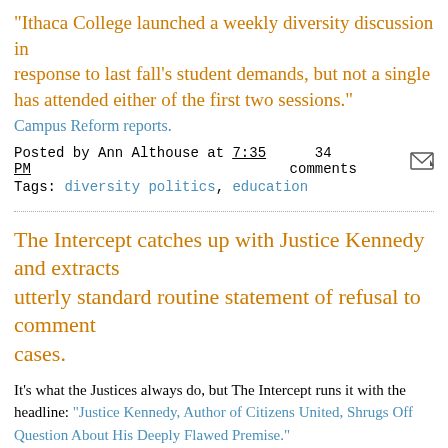"Ithaca College launched a weekly diversity discussion in response to last fall's student demands, but not a single has attended either of the first two sessions."
Campus Reform reports.
Posted by Ann Althouse at 7:35 PM   34 comments
Tags: diversity politics, education
The Intercept catches up with Justice Kennedy and extracts utterly standard routine statement of refusal to comment on cases.
It's what the Justices always do, but The Intercept runs it with the headline: "Justice Kennedy, Author of Citizens United, Shrugs Off Question About His Deeply Flawed Premise."
The author, Lee Fang, makes himself the hero of the story:
I caught up with Kennedy during a reception at the Justice Anthony McKe...